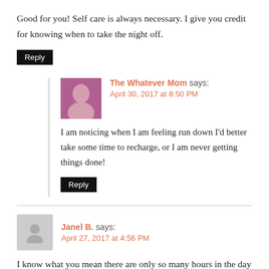Good for you! Self care is always necessary. I give you credit for knowing when to take the night off.
Reply
The Whatever Mom says: April 30, 2017 at 8:50 PM
I am noticing when I am feeling run down I'd better take some time to recharge, or I am never getting things done!
Reply
Janel B. says: April 27, 2017 at 4:56 PM
I know what you mean there are only so many hours in the day to get all the stuff done that I asked moms need to